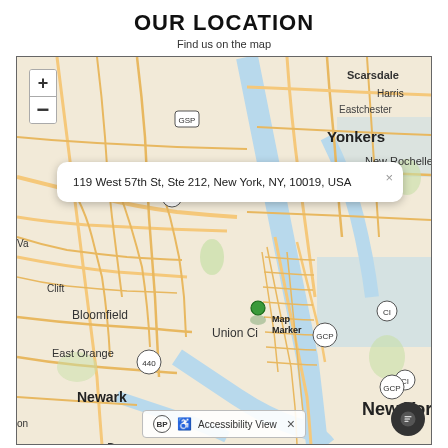OUR LOCATION
Find us on the map
[Figure (map): Interactive street map showing the New York metro area including Yonkers, Newark, Union City, and central New York. A map marker is placed near midtown Manhattan with a popup showing the address: 119 West 57th St, Ste 212, New York, NY, 10019, USA. Map includes zoom controls (+/-) and an Accessibility View bar at the bottom.]